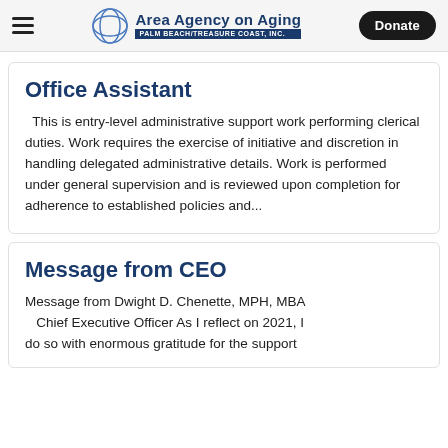Area Agency on Aging Palm Beach/Treasure Coast, Inc. | Donate
Office Assistant
This is entry-level administrative support work performing clerical duties. Work requires the exercise of initiative and discretion in handling delegated administrative details. Work is performed under general supervision and is reviewed upon completion for adherence to established policies and...
Message from CEO
Message from Dwight D. Chenette, MPH, MBA Chief Executive Officer As I reflect on 2021, I do so with enormous gratitude for the support